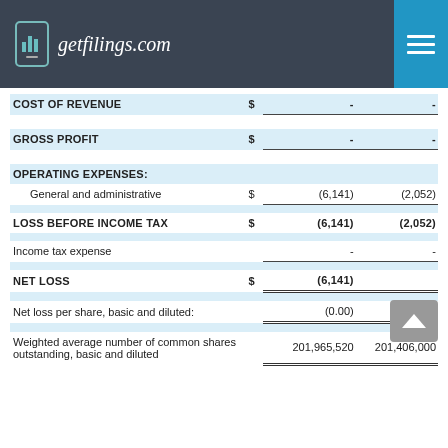getfilings.com
|  | $ |  |  |
| --- | --- | --- | --- |
| COST OF REVENUE | $ | - | - |
| GROSS PROFIT | $ | - | - |
| OPERATING EXPENSES: |  |  |  |
| General and administrative | $ | (6,141) | (2,052) |
| LOSS BEFORE INCOME TAX | $ | (6,141) | (2,052) |
| Income tax expense |  | - | - |
| NET LOSS | $ | (6,141) | (2,052) |
| Net loss per share, basic and diluted: |  | (0.00) | (0.00) |
| Weighted average number of common shares outstanding, basic and diluted |  | 201,965,520 | 201,406,000 |